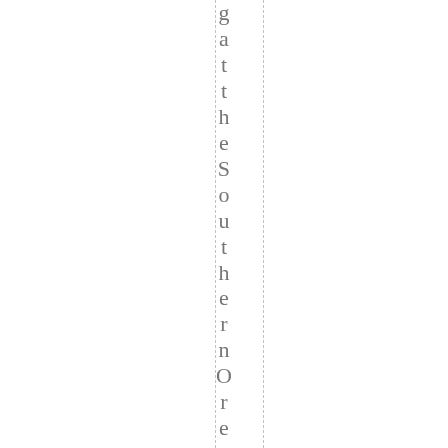gat the Southern Oregon Artists